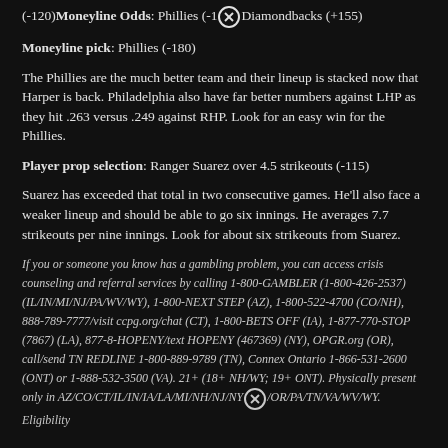(-120) Moneyline Odds: Phillies (-1[close icon]) Diamondbacks (+155)
Moneyline pick: Phillies (-180)
The Phillies are the much better team and their lineup is stacked now that Harper is back. Philadelphia also have far better numbers against LHP as they hit .263 versus .249 against RHP. Look for an easy win for the Phillies.
Player prop selection: Ranger Suarez over 4.5 strikeouts (-115)
Suarez has exceeded that total in two consecutive games. He'll also face a weaker lineup and should be able to go six innings. He averages 7.7 strikeouts per nine innings. Look for about six strikeouts from Suarez.
If you or someone you know has a gambling problem, you can access crisis counseling and referral services by calling 1-800-GAMBLER (1-800-426-2537) (IL/IN/MI/NJ/PA/WV/WY), 1-800-NEXT STEP (AZ), 1-800-522-4700 (CO/NH), 888-789-7777/visit ccpg.org/chat (CT), 1-800-BETS OFF (IA), 1-877-770-STOP (7867) (LA), 877-8-HOPENY/text HOPENY (467369) (NY), OPGR.org (OR), call/send TN REDLINE 1-800-889-9789 (TN), Connex Ontario 1-866-531-2600 (ONT) or 1-888-532-3500 (VA). 21+ (18+ NH/WY; 19+ ONT). Physically present only in AZ/CO/CT/IL/IN/IA/LA/MI/NH/NJ/NY[close icon]/OR/PA/TN/VA/WV/WY. Eligibility